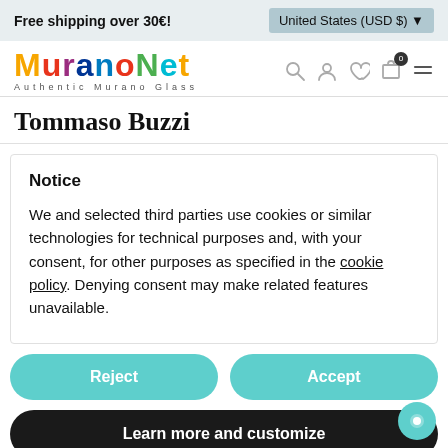Free shipping over 30€!
United States (USD $)
[Figure (logo): MuranoNet - Authentic Murano Glass logo with multicolored letters]
Tommaso Buzzi
Notice
We and selected third parties use cookies or similar technologies for technical purposes and, with your consent, for other purposes as specified in the cookie policy. Denying consent may make related features unavailable.
Reject
Accept
Learn more and customize